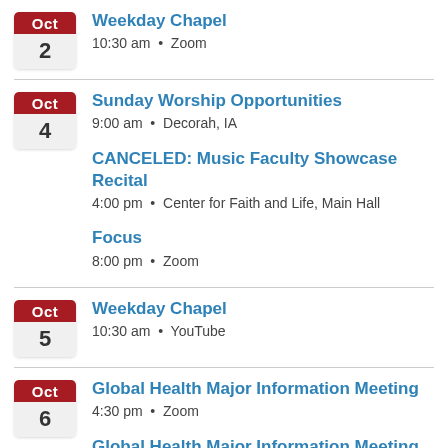Oct 2 — Weekday Chapel
10:30 am • Zoom
Oct 4 — Sunday Worship Opportunities
9:00 am • Decorah, IA
CANCELED: Music Faculty Showcase Recital
4:00 pm • Center for Faith and Life, Main Hall
Focus
8:00 pm • Zoom
Oct 5 — Weekday Chapel
10:30 am • YouTube
Oct 6 — Global Health Major Information Meeting
4:30 pm • Zoom
Global Health Major Information Meeting
9:30 pm • Zoom